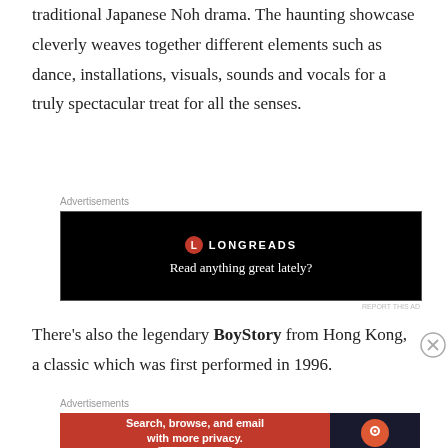traditional Japanese Noh drama. The haunting showcase cleverly weaves together different elements such as dance, installations, visuals, sounds and vocals for a truly spectacular treat for all the senses.
Advertisements
[Figure (screenshot): Longreads advertisement banner on black background with text 'Read anything great lately?']
There’s also the legendary BoyStory from Hong Kong, a classic which was first performed in 1996.
Advertisements
[Figure (screenshot): DuckDuckGo advertisement: 'Search, browse, and email with more privacy. All in One Free App' with DuckDuckGo logo on dark background]